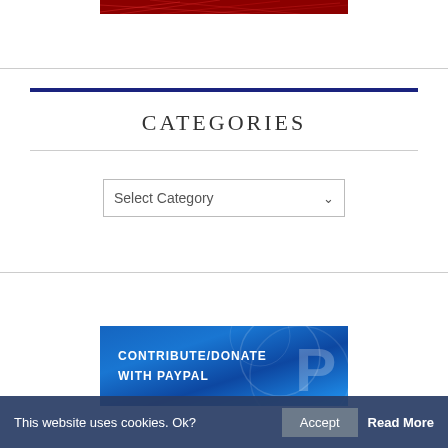[Figure (illustration): Red decorative banner with swirling line patterns on dark red background]
CATEGORIES
[Figure (screenshot): Select Category dropdown box UI element]
[Figure (illustration): Blue PayPal donation banner with text CONTRIBUTE/DONATE WITH PAYPAL and PayPal P logo]
This website uses cookies. Ok?  Accept  Read More